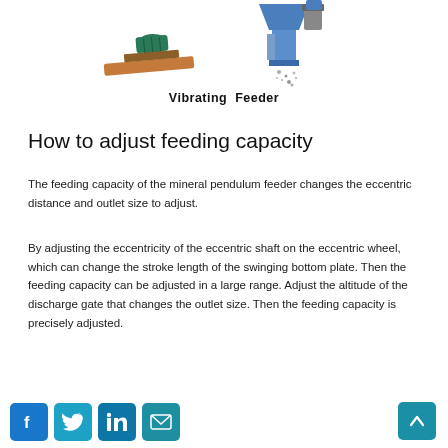[Figure (illustration): Illustration of two vibrating feeder machines — one showing a belt/roller feeder and another showing a box-type vibrating feeder with material particles falling]
Vibrating Feeder
How to adjust feeding capacity
The feeding capacity of the mineral pendulum feeder changes the eccentric distance and outlet size to adjust.
By adjusting the eccentricity of the eccentric shaft on the eccentric wheel, which can change the stroke length of the swinging bottom plate. Then the feeding capacity can be adjusted in a large range. Adjust the altitude of the discharge gate that changes the outlet size. Then the feeding capacity is precisely adjusted.